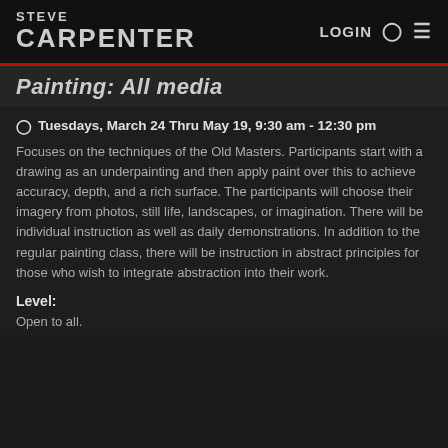STEVE CARPENTER — LOGIN
Painting: All media
Tuesdays, March 24 Thru May 19, 9:30 am - 12:30 pm
Focuses on the techniques of the Old Masters. Participants start with a drawing as an underpainting and then apply paint over this to achieve accuracy, depth, and a rich surface. The participants will choose their imagery from photos, still life, landscapes, or imagination. There will be individual instruction as well as daily demonstrations. In addition to the regular painting class, there will be instruction in abstract principles for those who wish to integrate abstraction into their work.
Level:
Open to all.